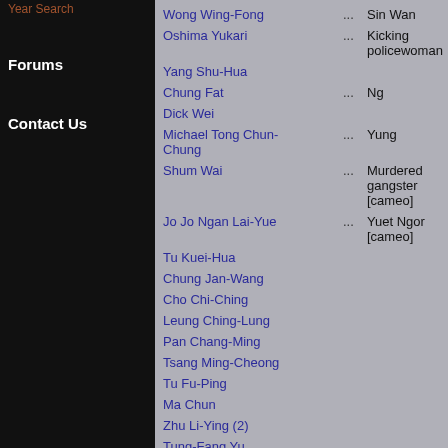Year Search
Forums
Contact Us
| Actor |  | Role |
| --- | --- | --- |
| Wong Wing-Fong | ... | Sin Wan |
| Oshima Yukari | ... | Kicking policewoman |
| Yang Shu-Hua |  |  |
| Chung Fat | ... | Ng |
| Dick Wei |  |  |
| Michael Tong Chun-Chung | ... | Yung |
| Shum Wai | ... | Murdered gangster [cameo] |
| Jo Jo Ngan Lai-Yue | ... | Yuet Ngor [cameo] |
| Tu Kuei-Hua |  |  |
| Chung Jan-Wang |  |  |
| Cho Chi-Ching |  |  |
| Leung Ching-Lung |  |  |
| Pan Chang-Ming |  |  |
| Tsang Ming-Cheong |  |  |
| Tu Fu-Ping |  |  |
| Ma Chun |  |  |
| Zhu Li-Ying (2) |  |  |
| Tung-Fang Yu |  |  |
| Li Chin-Kuang |  |  |
| Pai Yu-Chen |  |  |